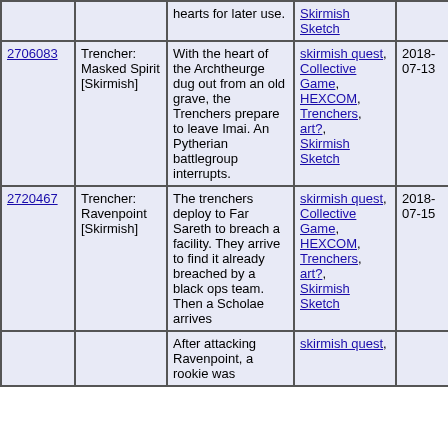| ID | Name | Description | Tags | Date | Votes |  |
| --- | --- | --- | --- | --- | --- | --- |
|  |  | hearts for later use. | Skirmish Sketch |  |  |  |
| 2706083 | Trencher: Masked Spirit [Skirmish] | With the heart of the Archtheurge dug out from an old grave, the Trenchers prepare to leave Imai. An Pytherian battlegroup interrupts. | skirmish quest, Collective Game, HEXCOM, Trenchers, art?, Skirmish Sketch | 2018-07-13 | 1 | Vote |
| 2720467 | Trencher: Ravenpoint [Skirmish] | The trenchers deploy to Far Sareth to breach a facility. They arrive to find it already breached by a black ops team. Then a Scholae arrives | skirmish quest, Collective Game, HEXCOM, Trenchers, art?, Skirmish Sketch | 2018-07-15 | 1 | Vote |
|  |  | After attacking Ravenpoint, a rookie was | skirmish quest, |  |  |  |